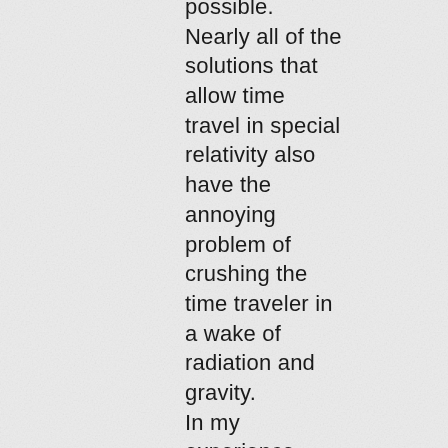possible. Nearly all of the solutions that allow time travel in special relativity also have the annoying problem of crushing the time traveler in a wake of radiation and gravity. In my experience, there is only one safe way to obtain controlled time travel and that involves the "safe" properties of a Kerr singularity (black hole)